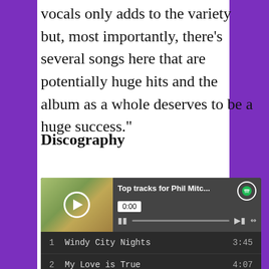vocals only adds to the variety but, most importantly, there’s several songs here that are potentially huge hits and the album as a whole deserves to be a huge success.”
Discography
[Figure (screenshot): Spotify embedded player widget showing 'Top tracks for Phil Mitc...' with a playlist including: 1. Windy City Nights 3:45, 2. My Love is True 4:07, 3. Like a River 3:58, 4. God Bless this Child on Christ... 4:34]